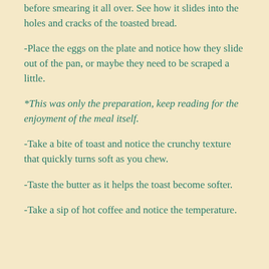before smearing it all over. See how it slides into the holes and cracks of the toasted bread.
-Place the eggs on the plate and notice how they slide out of the pan, or maybe they need to be scraped a little.
*This was only the preparation, keep reading for the enjoyment of the meal itself.
-Take a bite of toast and notice the crunchy texture that quickly turns soft as you chew.
-Taste the butter as it helps the toast become softer.
-Take a sip of hot coffee and notice the temperature.